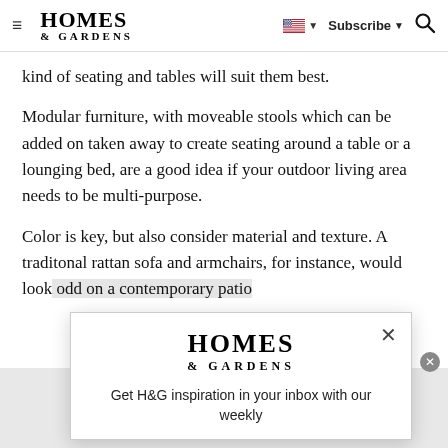HOMES & GARDENS — navigation bar with hamburger menu, logo, flag/language selector, Subscribe, and search icon
kind of seating and tables will suit them best.
Modular furniture, with moveable stools which can be added on taken away to create seating around a table or a lounging bed, are a good idea if your outdoor living area needs to be multi-purpose.
Color is key, but also consider material and texture. A traditonal rattan sofa and armchairs, for instance, would look odd on a contemporary patio
[Figure (screenshot): Homes & Gardens popup newsletter signup modal with logo and text 'Get H&G inspiration in your inbox with our weekly']
[Figure (other): Gray advertisement band at the bottom of the page with a circular close button]